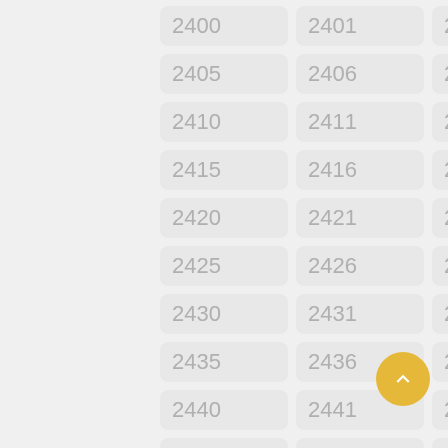2400
2401
2402
2403
2404
2405
2406
2407
2408
2409
2410
2411
2412
2413
2414
2415
2416
2417
2418
2419
2420
2421
2422
2423
2424
2425
2426
2427
2428
2429
2430
2431
2432
2433
2434
2435
2436
2437
2438
2439
2440
2441
2442
2443
2444
2445
2446
2447
2448
2449
2450
2451
2452
2453
2454